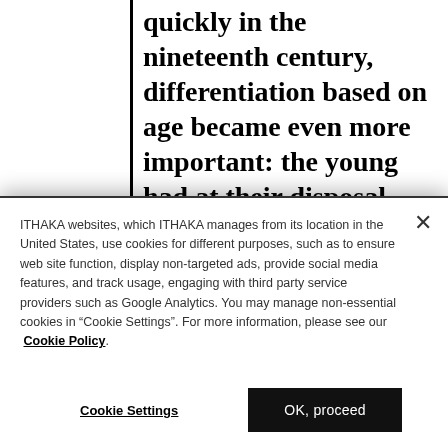quickly in the nineteenth century, differentiation based on age became even more important: the young had at their disposal tools their elders did not. The concentration of rapid technological change in urban centers led to youth gaining economic and social advantages at the same time
ITHAKA websites, which ITHAKA manages from its location in the United States, use cookies for different purposes, such as to ensure web site function, display non-targeted ads, provide social media features, and track usage, engaging with third party service providers such as Google Analytics. You may manage non-essential cookies in “Cookie Settings”. For more information, please see our Cookie Policy.
Cookie Settings
OK, proceed